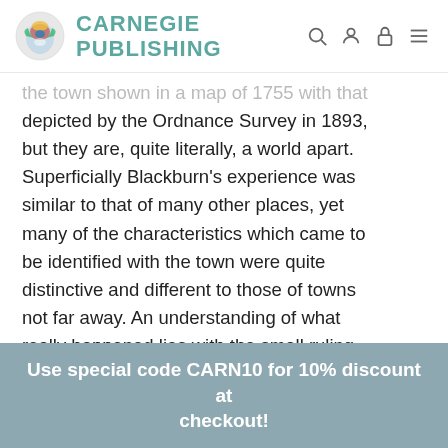CARNEGIE PUBLISHING
the town shown in a map of 1755 with that depicted by the Ordnance Survey in 1893, but they are, quite literally, a world apart. Superficially Blackburn’s experience was similar to that of many other places, yet many of the characteristics which came to be identified with the town were quite distinctive and different to those of towns not far away. An understanding of what really happened lies with the small ruling elite thrown up by the industrial revolution, an elite which shaped virtually every aspect of Blackburn – economic,
Use special code CARN10 for 10% discount at checkout!